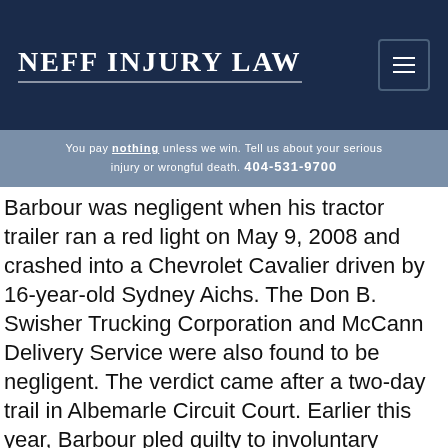[Figure (logo): Neff Injury Law logo — white serif text on dark navy background with decorative underlines]
You pay nothing unless we win. Tell us about your serious injury or wrongful death. 404-531-9700
Barbour was negligent when his tractor trailer ran a red light on May 9, 2008 and crashed into a Chevrolet Cavalier driven by 16-year-old Sydney Aichs. The Don B. Swisher Trucking Corporation and McCann Delivery Service were also found to be negligent. The verdict came after a two-day trail in Albemarle Circuit Court. Earlier this year, Barbour pled guilty to involuntary manslaughter and reckless driving. He was sentenced to two years in prison.
The family of Sydney Aichs filed a $15 million civil...